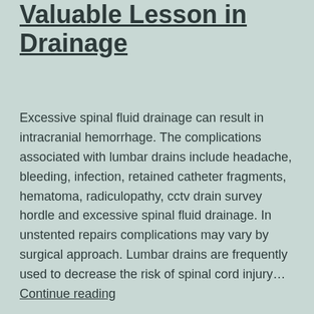Valuable Lesson in Drainage
Excessive spinal fluid drainage can result in intracranial hemorrhage. The complications associated with lumbar drains include headache, bleeding, infection, retained catheter fragments, hematoma, radiculopathy, cctv drain survey hordle and excessive spinal fluid drainage. In unstented repairs complications may vary by surgical approach. Lumbar drains are frequently used to decrease the risk of spinal cord injury… Continue reading